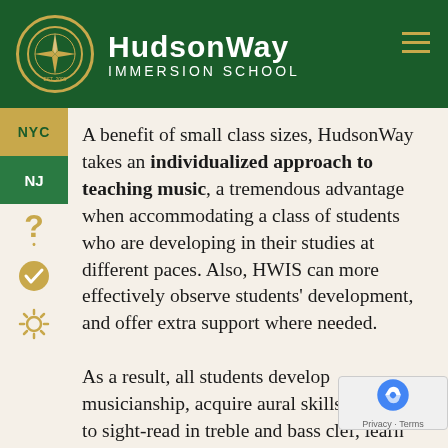HudsonWay Immersion School
A benefit of small class sizes, HudsonWay takes an individualized approach to teaching music, a tremendous advantage when accommodating a class of students who are developing in their studies at different paces. Also, HWIS can more effectively observe students' development, and offer extra support where needed.

As a result, all students develop musicianship, acquire aural skills, learn how to sight-read in treble and bass clef, learn the system of music notation, study music theory concepts, develop practice skills and gain appreciation of the music of many cultures, pe... and genres.